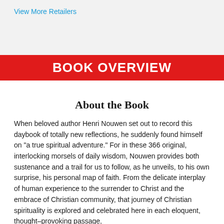View More Retailers
BOOK OVERVIEW
About the Book
When beloved author Henri Nouwen set out to record this daybook of totally new reflections, he suddenly found himself on "a true spiritual adventure." For in these 366 original, interlocking morsels of daily wisdom, Nouwen provides both sustenance and a trail for us to follow, as he unveils, to his own surprise, his personal map of faith. From the delicate interplay of human experience to the surrender to Christ and the embrace of Christian community, that journey of Christian spirituality is explored and celebrated here in each eloquent, thought–provoking passage,
"The table is one of the most intimate places in our lives. It is there that we give ourselves to one another. When we say, 'Take some more, let me serve you another plate, let me pour you another glass, don't be shy, enjoy it,' we say a lot more than